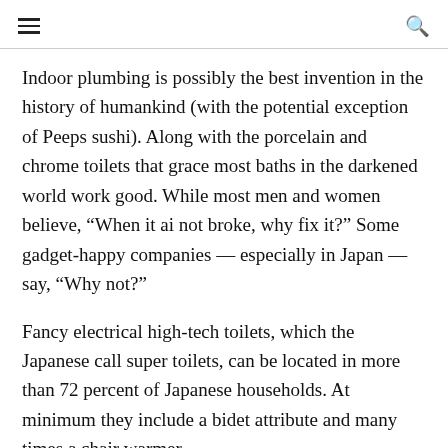[hamburger menu] [search icon]
Indoor plumbing is possibly the best invention in the history of humankind (with the potential exception of Peeps sushi). Along with the porcelain and chrome toilets that grace most baths in the darkened world work good. While most men and women believe, “When it ai not broke, why fix it?” Some gadget-happy companies — especially in Japan — say, “Why not?”
Fancy electrical high-tech toilets, which the Japanese call super toilets, can be located in more than 72 percent of Japanese households. At minimum they include a bidet attribute and many times a chair warmer.
High-tech features vary, but the majority of the toilets